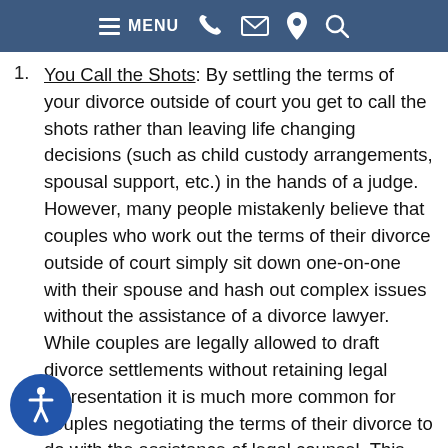MENU [phone] [email] [location] [search]
You Call the Shots: By settling the terms of your divorce outside of court you get to call the shots rather than leaving life changing decisions (such as child custody arrangements, spousal support, etc.) in the hands of a judge. However, many people mistakenly believe that couples who work out the terms of their divorce outside of court simply sit down one-on-one with their spouse and hash out complex issues without the assistance of a divorce lawyer. While couples are legally allowed to draft divorce settlements without retaining legal representation it is much more common for couples negotiating the terms of their divorce to do with the assistance of legal counsel. This method enables you to call the shots while still having retaining an experienced divorce lawyer to negotiate on your behalf and